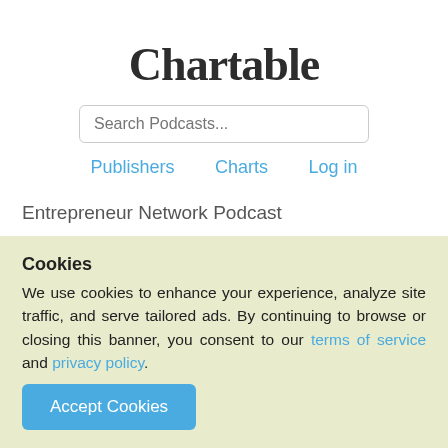Chartable
Search Podcasts...
Publishers   Charts   Log in
Entrepreneur Network Podcast
Do Most Cannabis Beverages Suck? This Cocktail Expert Thinks So
listen now
Cookies
We use cookies to enhance your experience, analyze site traffic, and serve tailored ads. By continuing to browse or closing this banner, you consent to our terms of service and privacy policy.
Accept Cookies
0:00 / 0:00